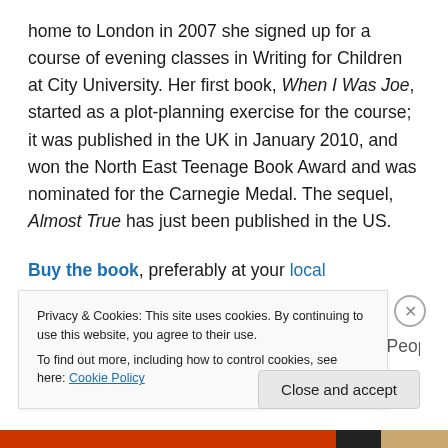home to London in 2007 she signed up for a course of evening classes in Writing for Children at City University. Her first book, When I Was Joe, started as a plot-planning exercise for the course; it was published in the UK in January 2010, and won the North East Teenage Book Award and was nominated for the Carnegie Medal. The sequel, Almost True has just been published in the US.
Buy the book, preferably at your local independent bookstore.
[Talking Meaning Deliberately With Writers for People]
Privacy & Cookies: This site uses cookies. By continuing to use this website, you agree to their use. To find out more, including how to control cookies, see here: Cookie Policy
Close and accept